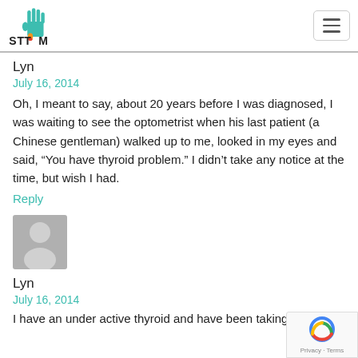STTM logo and navigation
Lyn
July 16, 2014
Oh, I meant to say, about 20 years before I was diagnosed, I was waiting to see the optometrist when his last patient (a Chinese gentleman) walked up to me, looked in my eyes and said, “You have thyroid problem.” I didn’t take any notice at the time, but wish I had.
Reply
[Figure (photo): Default user avatar placeholder - grey silhouette of a person on grey background]
Lyn
July 16, 2014
I have an under active thyroid and have been taking graving...